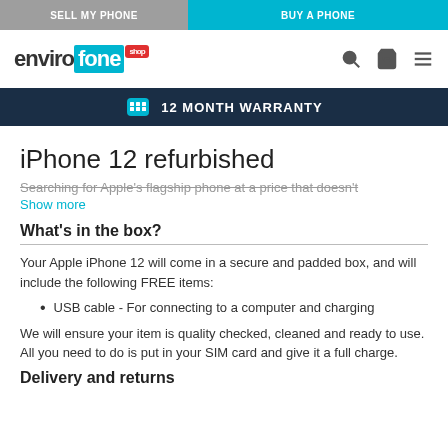SELL MY PHONE | BUY A PHONE
[Figure (logo): Envirofone Shop logo with search, basket, and menu icons]
12 MONTH WARRANTY
iPhone 12 refurbished
Searching for Apple's flagship phone at a price that doesn't
Show more
What's in the box?
Your Apple iPhone 12 will come in a secure and padded box, and will include the following FREE items:
USB cable - For connecting to a computer and charging
We will ensure your item is quality checked, cleaned and ready to use. All you need to do is put in your SIM card and give it a full charge.
Delivery and returns